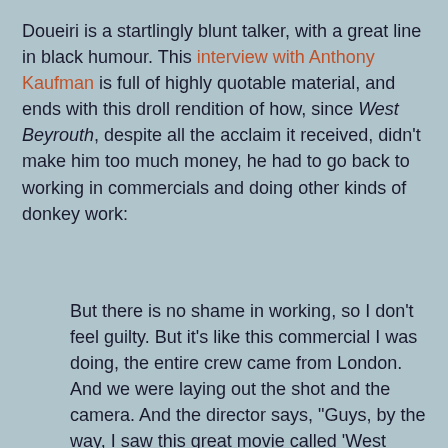Doueiri is a startlingly blunt talker, with a great line in black humour. This interview with Anthony Kaufman is full of highly quotable material, and ends with this droll rendition of how, since West Beyrouth, despite all the acclaim it received, didn't make him too much money, he had to go back to working in commercials and doing other kinds of donkey work:
But there is no shame in working, so I don't feel guilty. But it's like this commercial I was doing, the entire crew came from London. And we were laying out the shot and the camera. And the director says, "Guys, by the way, I saw this great movie called 'West Beirut'" And the D.P. turns to him, pointing to me and says, "That's the director." And he says, "Oh right." And the D.P. said, "I swear, that's the director." And then the director, he comes to me, and his whole demeanor is changed throughout the commercial. I swear to you, he says, "Do you think we could put the camera here?" And I'm